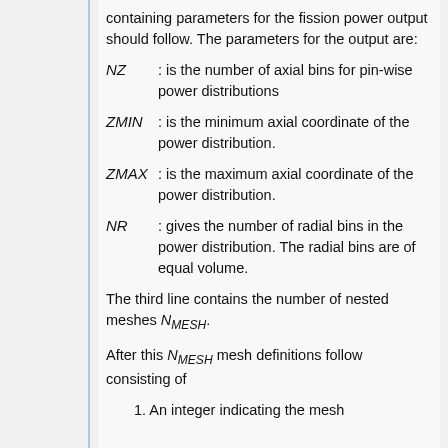containing parameters for the fission power output should follow. The parameters for the output are:
NZ : is the number of axial bins for pin-wise power distributions
ZMIN : is the minimum axial coordinate of the power distribution.
ZMAX : is the maximum axial coordinate of the power distribution.
NR : gives the number of radial bins in the power distribution. The radial bins are of equal volume.
The third line contains the number of nested meshes N_MESH.
After this N_MESH mesh definitions follow consisting of
1. An integer indicating the mesh